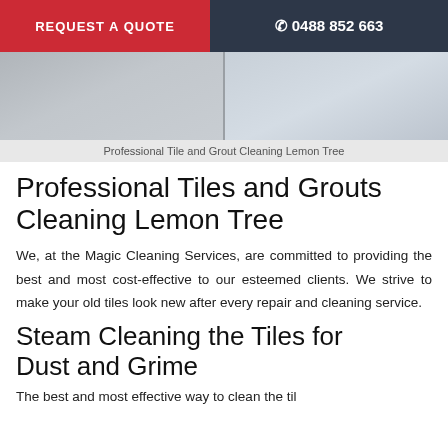REQUEST A QUOTE | 0488 852 663
[Figure (photo): Tile and grout cleaning photo showing bathroom or kitchen floor tiles, split into two panels.]
Professional Tile and Grout Cleaning Lemon Tree
Professional Tiles and Grouts Cleaning Lemon Tree
We, at the Magic Cleaning Services, are committed to providing the best and most cost-effective to our esteemed clients. We strive to make your old tiles look new after every repair and cleaning service.
Steam Cleaning the Tiles for Dust and Grime
The best and most effective way to clean the tils